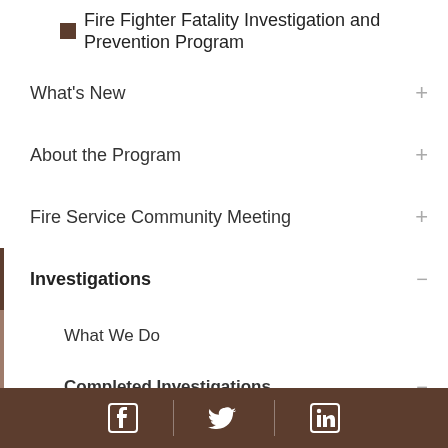Fire Fighter Fatality Investigation and Prevention Program
What's New
About the Program
Fire Service Community Meeting
Investigations
What We Do
Completed Investigations
Fire Fighter Dies After Performing Overhaul at a Fire in a Three-Story Dwelling – Pennsylvania
Facebook | Twitter | LinkedIn